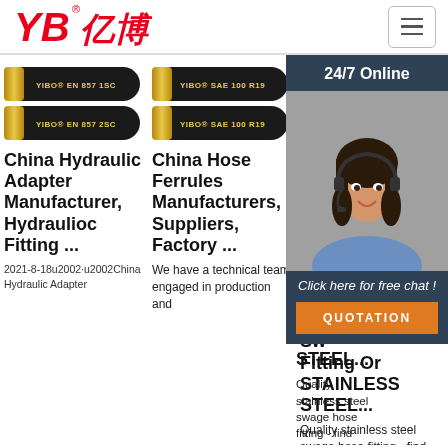[Figure (logo): YB亿博 logo in red italic bold text with registered trademark]
[Figure (photo): Two black hydraulic hoses labeled YIBO EN 857 1SC and YIBO EN 857 2SC]
China Hydraulic Adapter Manufacturer, Hydraulioc Fitting ...
2021-8-18u2002·u2002China Hydraulic Adapter
[Figure (photo): Two black hydraulic hoses labeled YIBO SAE 100 R19 and YIBO SAE 100 R19]
China Hose Ferrules Manufacturers, Suppliers, Factory ...
We have a technical team engaged in production and
Stainless Steel Swage Hose Fitting Or STAINLESS STEEL...
Quality stainless steel swage hose fitting - find quality STAINLESS STEEL
[Figure (photo): Customer service representative woman with headset, 24/7 Online chat widget]
Click here for free chat !
QUOTATION